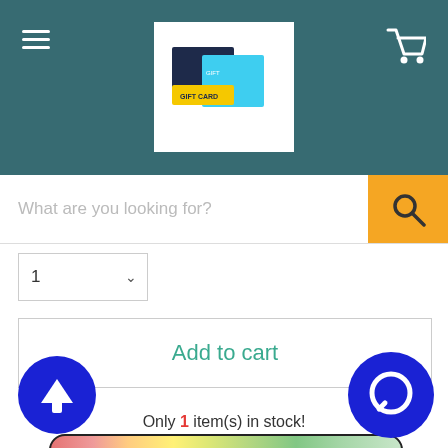[Figure (screenshot): E-commerce website header with teal/dark teal background, hamburger menu on left, gift card logo in center, shopping cart icon on right]
[Figure (other): Search bar with placeholder text 'What are you looking for?' and orange search button with magnifying glass icon]
1
Add to cart
Only 1 item(s) in stock!
[Figure (infographic): Horizontal pill-shaped stock indicator bar with gradient from red/pink on left to green on right, with dark border]
[Figure (other): Blue circular upload/up-arrow button at bottom left]
[Figure (other): Blue circular chat/message button at bottom right]